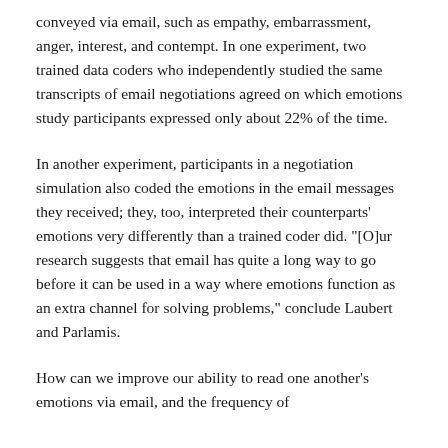conveyed via email, such as empathy, embarrassment, anger, interest, and contempt. In one experiment, two trained data coders who independently studied the same transcripts of email negotiations agreed on which emotions study participants expressed only about 22% of the time.
In another experiment, participants in a negotiation simulation also coded the emotions in the email messages they received; they, too, interpreted their counterparts' emotions very differently than a trained coder did. "[O]ur research suggests that email has quite a long way to go before it can be used in a way where emotions function as an extra channel for solving problems," conclude Laubert and Parlamis.
How can we improve our ability to read one another's emotions via email, and the frequency of...